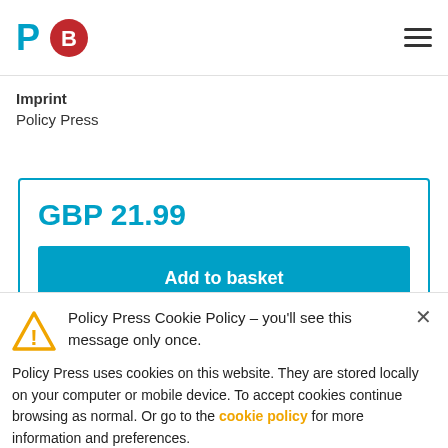P [logo] [B logo] [hamburger menu]
Imprint
Policy Press
GBP 21.99
Add to basket
Policy Press Cookie Policy – you'll see this message only once.
Policy Press uses cookies on this website. They are stored locally on your computer or mobile device. To accept cookies continue browsing as normal. Or go to the cookie policy for more information and preferences.